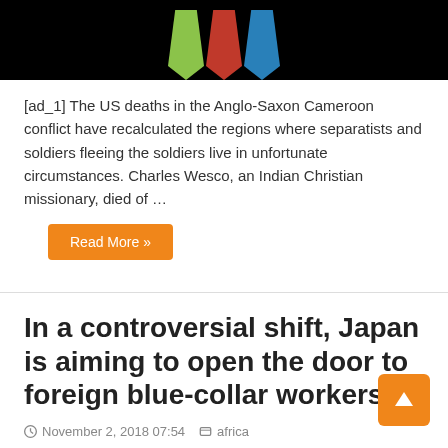[Figure (photo): Dark background with colorful tie shapes (green, red, blue) representing figures]
[ad_1] The US deaths in the Anglo-Saxon Cameroon conflict have recalculated the regions where separatists and soldiers fleeing the soldiers live in unfortunate circumstances. Charles Wesco, an Indian Christian missionary, died of …
Read More »
In a controversial shift, Japan is aiming to open the door to foreign blue-collar workers
November 2, 2018 07:54  africa